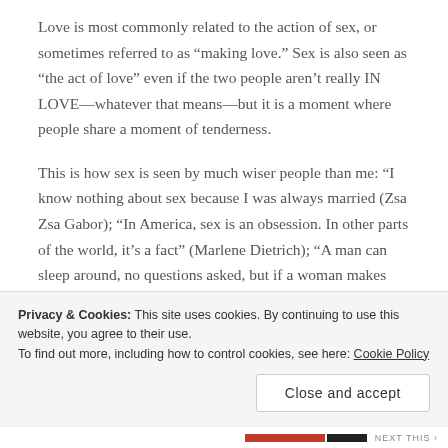Love is most commonly related to the action of sex, or sometimes referred to as “making love.” Sex is also seen as “the act of love” even if the two people aren’t really IN LOVE—whatever that means—but it is a moment where people share a moment of tenderness.
This is how sex is seen by much wiser people than me: “I know nothing about sex because I was always married (Zsa Zsa Gabor); “In America, sex is an obsession. In other parts of the world, it’s a fact” (Marlene Dietrich); “A man can sleep around, no questions asked, but if a woman makes nineteen or
Privacy & Cookies: This site uses cookies. By continuing to use this website, you agree to their use.
To find out more, including how to control cookies, see here: Cookie Policy
Close and accept